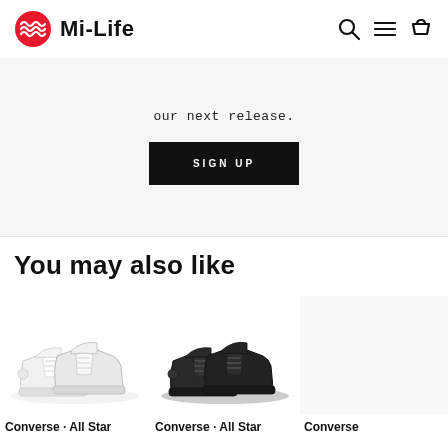Mi-Life
our next release.
SIGN UP
You may also like
[Figure (photo): White Converse All Star high-top sneakers on white background]
Converse · All Star
[Figure (photo): Black Converse All Star high-top sneakers on white background]
Converse · All Star
Converse